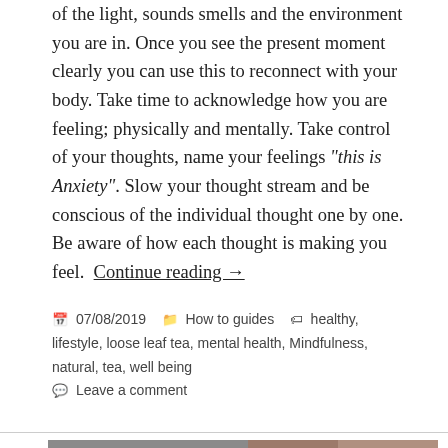of the light, sounds smells and the environment you are in. Once you see the present moment clearly you can use this to reconnect with your body. Take time to acknowledge how you are feeling; physically and mentally. Take control of your thoughts, name your feelings “this is Anxiety”. Slow your thought stream and be conscious of the individual thought one by one. Be aware of how each thought is making you feel.  Continue reading →
07/08/2019   How to guides   healthy, lifestyle, loose leaf tea, mental health, Mindfulness, natural, tea, well being   Leave a comment
[Figure (photo): Photo of two people, one appears to be a young man with curly dark hair wearing a red top, and another person with curly hair partially visible on the right side. Background shows an interior space.]